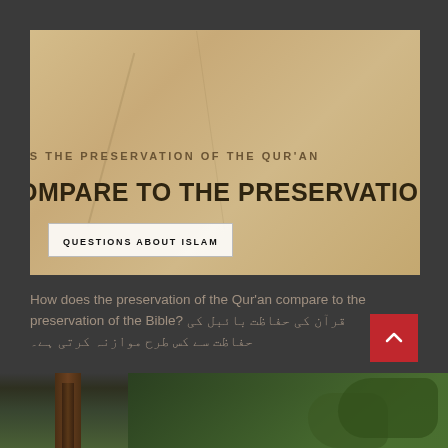[Figure (photo): A banner image with parchment/tan background showing partial text about preservation of the Qur'an and comparison to the Bible, with a 'Questions About Islam' badge overlay at bottom left]
How does the preservation of the Qur'an compare to the preservation of the Bible? قرآن کی حفاظت بائبل کی حفاظت سے کس طرح موازنہ کرتی ہے۔
[Figure (photo): A nature/forest photo at the bottom showing trees and green foliage]